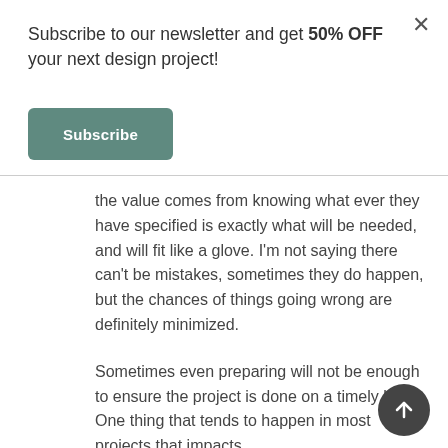Subscribe to our newsletter and get 50% OFF your next design project!
[Figure (other): Green Subscribe button]
the value comes from knowing what ever they have specified is exactly what will be needed, and will fit like a glove. I'm not saying there can't be mistakes, sometimes they do happen, but the chances of things going wrong are definitely minimized.
Sometimes even preparing will not be enough to ensure the project is done on a timely basis. One thing that tends to happen in most projects that impacts
[Figure (other): Scroll-to-top circular arrow button]